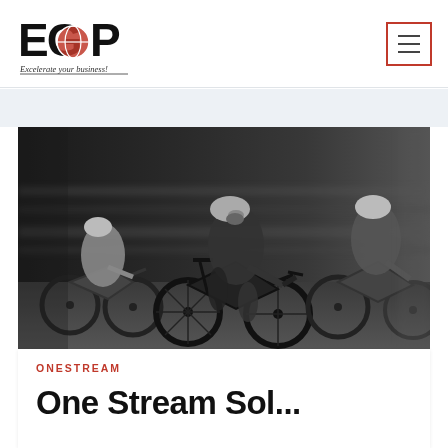[Figure (logo): EGP logo with red globe graphic and text 'Excelerate your business!' in italic]
[Figure (other): Hamburger menu icon inside a red-bordered square button]
[Figure (photo): Black and white motion-blur photo of cyclists racing on bicycles]
ONESTREAM
One Stream Sol...